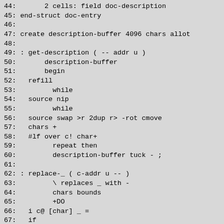44:       2 cells: field doc-description
45: end-struct doc-entry
46:
47: create description-buffer 4096 chars allot
48:
49: : get-description ( -- addr u )
50:       description-buffer
51:       begin
52:   refill
53:         while
54:   source nip
55:         while
56:   source swap >r 2dup r> -rot cmove
57:   chars +
58:   #lf over c! char+
59:         repeat then
60:         description-buffer tuck - ;
61:
62: : replace-_ ( c-addr u -- )
63:         \ replaces _ with -
64:         chars bounds
65:         +DO
66:   i c@ [char] _ =
67:   if
68:           [char] - i c!
69:   endif
70:   1 chars
71:         +loop ;
72:
73: : condition-stack-effect ( c-addr1 u1 -- c-addr2